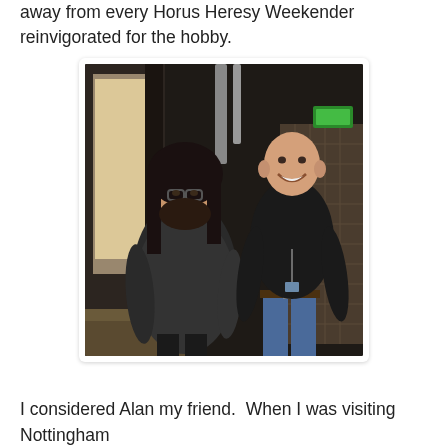away from every Horus Heresy Weekender reinvigorated for the hobby.
[Figure (photo): Two men standing together indoors. The man on the left has long dark hair and a beard, wearing glasses and a dark jacket. The man on the right is taller, bald/shaved head, smiling broadly, wearing a black long-sleeve top and jeans with a belt. Background shows a dimly lit room with wooden elements and a green sign.]
I considered Alan my friend.  When I was visiting Nottingham